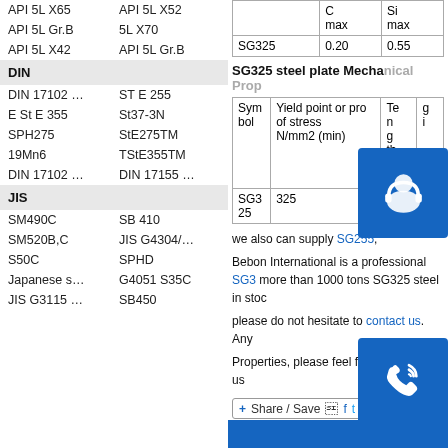API 5L X65   API 5L X52
API 5L Gr.B   5L X70
API 5L X42   API 5L Gr.B
DIN
DIN 17102 ...   ST E 255
E St E 355   St37-3N
SPH275   StE275TM
19Mn6   TStE355TM
DIN 17102 ...   DIN 17155 ...
JIS
SM490C   SB 410
SM520B,C   JIS G4304/...
S50C   SPHD
Japanese s...   G4051 S35C
JIS G3115 ...   SB450
|  | C max | Si max |
| --- | --- | --- |
| SG325 | 0.20 | 0.55 |
SG325 steel plate Mechanical Properties
| Symbol | Yield point or proof stress N/mm2 (min) | Tensile strength N/mm2 (min) | Elongation % (min) |
| --- | --- | --- | --- |
| SG3 25 | 325 | 490 | 22 |
we also can supply SG255, SG295, SG365, SG415
Bebon International is a professional SG325 steel exporter and a steel Stockist in china. We keep more than 1000 tons SG325 steel in stock every month.
please do not hesitate to contact us. Any need in SG325 Chemical Composition and Mechanical Properties, please feel free to contact us
Share / Save